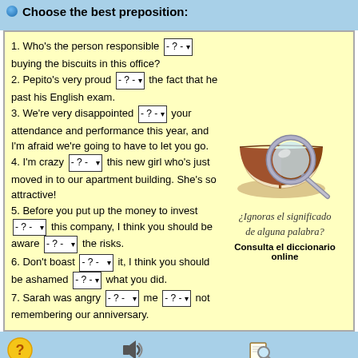Choose the best preposition:
1. Who's the person responsible [- ? -▾] buying the biscuits in this office?
2. Pepito's very proud [- ? -▾] the fact that he past his English exam.
3. We're very disappointed [- ? -▾] your attendance and performance this year, and I'm afraid we're going to have to let you go.
4. I'm crazy [- ? -▾] this new girl who's just moved in to our apartment building. She's so attractive!
5. Before you put up the money to invest [- ? -▾] this company, I think you should be aware [- ? -▾] the risks.
6. Don't boast [- ? -▾] it, I think you should be ashamed [- ? -▾] what you did.
7. Sarah was angry [- ? -▾] me [- ? -▾] not remembering our anniversary.
[Figure (illustration): Illustration of a magnifying glass over an open book, representing dictionary lookup]
¿Ignoras el significado de alguna palabra? Consulta el diccionario online
Footer with question mark icon, speaker icon, and book/magnifier icon